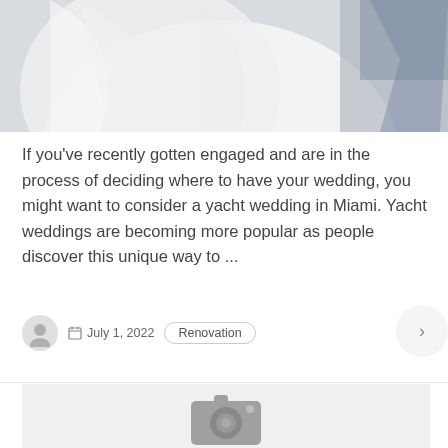[Figure (photo): Top portion of a wedding photo showing a bride in a white dress, partially cropped]
If you've recently gotten engaged and are in the process of deciding where to have your wedding, you might want to consider a yacht wedding in Miami. Yacht weddings are becoming more popular as people discover this unique way to ...
July 1, 2022
Renovation
[Figure (photo): Placeholder image with camera icon, partially visible at bottom of page]